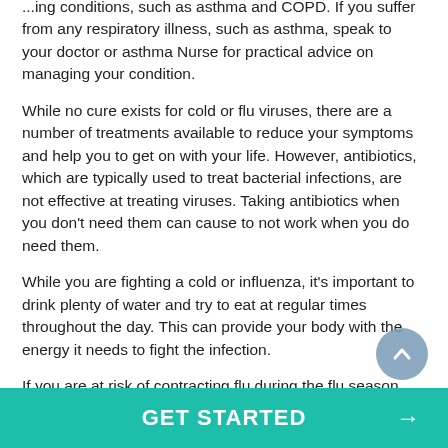...ing conditions, such as asthma and COPD. If you suffer from any respiratory illness, such as asthma, speak to your doctor or asthma Nurse for practical advice on managing your condition.
While no cure exists for cold or flu viruses, there are a number of treatments available to reduce your symptoms and help you to get on with your life. However, antibiotics, which are typically used to treat bacterial infections, are not effective at treating viruses. Taking antibiotics when you don't need them can cause to not work when you do need them.
While you are fighting a cold or influenza, it's important to drink plenty of water and try to eat at regular times throughout the day. This can provide your body with the energy it needs to fight the infection.
If you are at risk of contracting flu during the flu season, you may receive an annual letter from your doctor reminding you
GET STARTED →